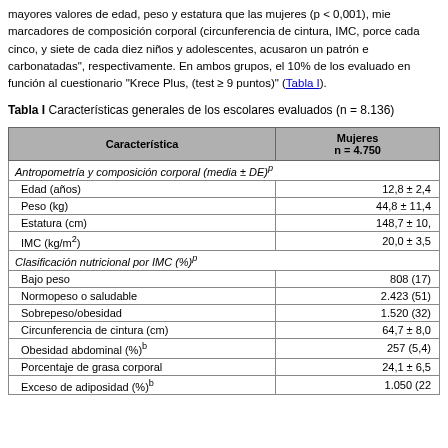mayores valores de edad, peso y estatura que las mujeres (p < 0,001), mie marcadores de composición corporal (circunferencia de cintura, IMC, porce cada cinco, y siete de cada diez niños y adolescentes, acusaron un patrón e carbonatadas", respectivamente. En ambos grupos, el 10% de los evaluado en función al cuestionario "Krece Plus, (test ≥ 9 puntos)" (Tabla I).
Tabla I Características generales de los escolares evaluados (n = 8.136)
| Característica | Mujeres n = 4.750 |
| --- | --- |
| Antropometría y composición corporal (media ± DE)ᵖ |  |
| Edad (años) | 12,8 ± 2,4 |
| Peso (kg) | 44,8 ± 11,4 |
| Estatura (cm) | 148,7 ± 10, |
| IMC (kg/m²) | 20,0 ± 3,5 |
| Clasificación nutricional por IMC (%)ᵖ |  |
| Bajo peso | 808 (17) |
| Normopeso o saludable | 2.423 (51) |
| Sobrepeso/obesidad | 1.520 (32) |
| Circunferencia de cintura (cm) | 64,7 ± 8,0 |
| Obesidad abdominal (%)ᵇ | 257 (5,4) |
| Porcentaje de grasa corporal | 24,1 ± 6,5 |
| Exceso de adiposidad (%)ᵇ | 1.050 (22 |